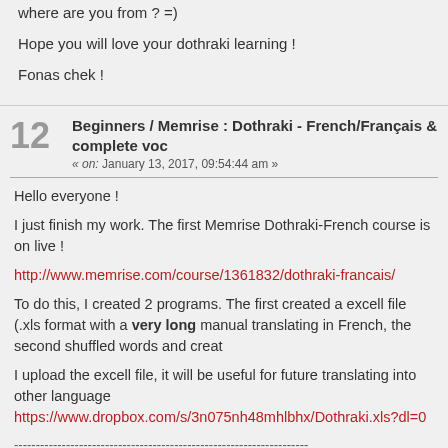where are you from ? =)
Hope you will love your dothraki learning !
Fonas chek !
12   Beginners / Memrise : Dothraki - French/Français & complete voc
« on: January 13, 2017, 09:54:44 am »
Hello everyone !
I just finish my work. The first Memrise Dothraki-French course is on live !
http://www.memrise.com/course/1361832/dothraki-francais/
To do this, I created 2 programs. The first created a excell file (.xls format with a very long manual translating in French, the second shuffled words and creat
I upload the excell file, it will be useful for future translating into other language
https://www.dropbox.com/s/3n075nh48mhlbhx/Dothraki.xls?dl=0
--------------------------------------------------------------------
Salut tout le monde !
Je viens juste de finir. La première course Memrise Dothraki-Français est en lig